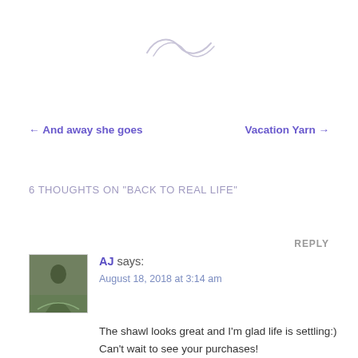[Figure (illustration): Decorative swirl/wave ornament in light gray]
← And away she goes
Vacation Yarn →
6 THOUGHTS ON "BACK TO REAL LIFE"
REPLY
[Figure (photo): Avatar photo of commenter AJ, showing a person on a path outdoors]
AJ says:
August 18, 2018 at 3:14 am
The shawl looks great and I'm glad life is settling:) Can't wait to see your purchases!